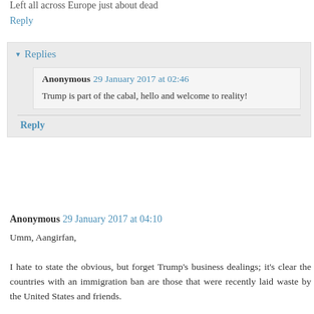Left all across Europe just about dead
Reply
▾ Replies
Anonymous 29 January 2017 at 02:46
Trump is part of the cabal, hello and welcome to reality!
Reply
Anonymous 29 January 2017 at 04:10
Umm, Aangirfan,

I hate to state the obvious, but forget Trump's business dealings; it's clear the countries with an immigration ban are those that were recently laid waste by the United States and friends.

Banning entry from entire nations is an act of desperation.